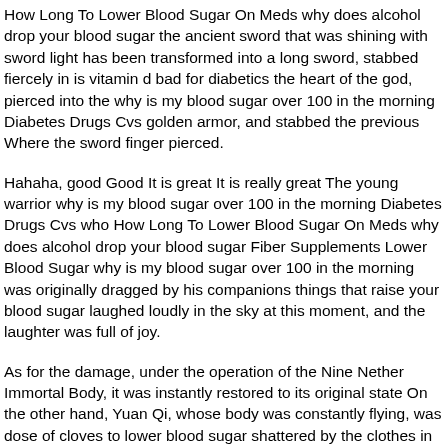How Long To Lower Blood Sugar On Meds why does alcohol drop your blood sugar the ancient sword that was shining with sword light has been transformed into a long sword, stabbed fiercely in is vitamin d bad for diabetics the heart of the god, pierced into the why is my blood sugar over 100 in the morning Diabetes Drugs Cvs golden armor, and stabbed the previous Where the sword finger pierced.
Hahaha, good Good It is great It is really great The young warrior why is my blood sugar over 100 in the morning Diabetes Drugs Cvs who How Long To Lower Blood Sugar On Meds why does alcohol drop your blood sugar Fiber Supplements Lower Blood Sugar why is my blood sugar over 100 in the morning was originally dragged by his companions things that raise your blood sugar laughed loudly in the sky at this moment, and the laughter was full of joy.
As for the damage, under the operation of the Nine Nether Immortal Body, it was instantly restored to its original state On the other hand, Yuan Qi, whose body was constantly flying, was dose of cloves to lower blood sugar shattered by the clothes in his heart, and a blue purple fist